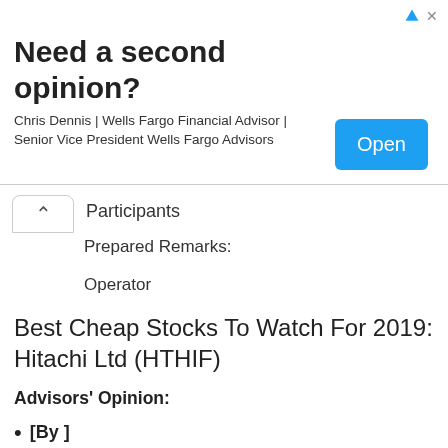[Figure (other): Advertisement banner: 'Need a second opinion?' by Chris Dennis | Wells Fargo Financial Advisor | Senior Vice President Wells Fargo Advisors with an Open button]
Participants
Prepared Remarks:
Operator
Best Cheap Stocks To Watch For 2019: Hitachi Ltd (HTHIF)
Advisors' Opinion:
[By ] Some of the larger companies that have begun incorporating blockchain into their industries include: